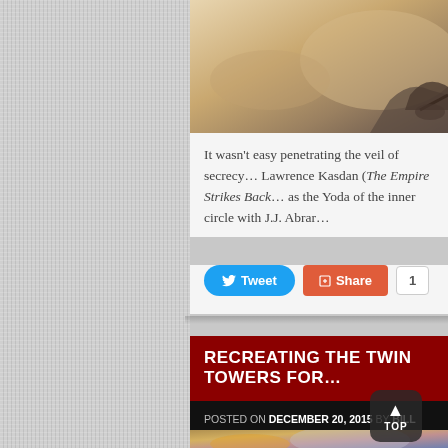[Figure (photo): Desert/sandy landscape scene with dark silhouetted figures or objects, partial top of image visible]
It wasn't easy penetrating the veil of secrecy… Lawrence Kasdan (The Empire Strikes Back… as the Yoda of the inner circle with J.J. Abrar…
[Figure (screenshot): Social media sharing buttons: Tweet button (blue), Share button (orange/red), and share count showing 1]
RECREATING THE TWIN TOWERS FOR…
POSTED ON DECEMBER 20, 2015 BY BILL DESOWITZ VIRTUAL PRODUCTION | LEAVE A COMMENT
[Figure (photo): Dramatic cloudy sky scene, partial bottom of image with a TOP button overlay]